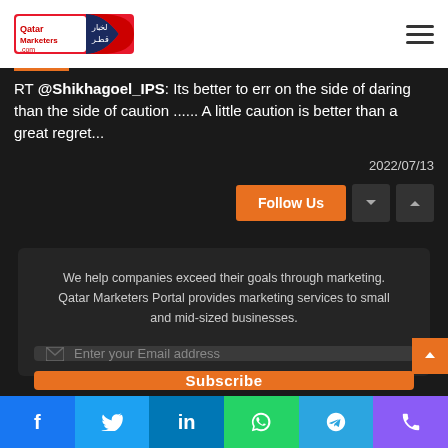Qatar Marketers portal logo and navigation
RT @Shikhagoel_IPS: Its better to err on the side of daring than the side of caution ...... A little caution is better than a great regret...
2022/07/13
Follow Us
We help companies exceed their goals through marketing. Qatar Marketers Portal provides marketing services to small and mid-sized businesses.
Enter your Email address
Subscribe
f  t  in  WhatsApp  Telegram  Phone